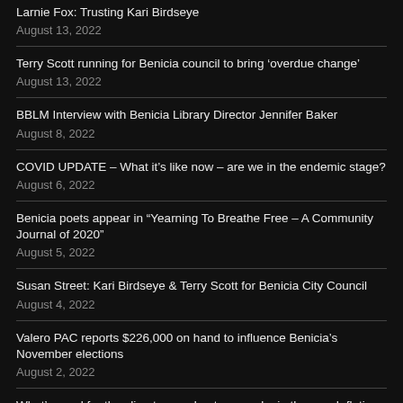Larnie Fox: Trusting Kari Birdseye
August 13, 2022
Terry Scott running for Benicia council to bring ‘overdue change’
August 13, 2022
BBLM Interview with Benicia Library Director Jennifer Baker
August 8, 2022
COVID UPDATE – What it’s like now – are we in the endemic stage?
August 6, 2022
Benicia poets appear in “Yearning To Breathe Free – A Community Journal of 2020”
August 5, 2022
Susan Street: Kari Birdseye & Terry Scott for Benicia City Council
August 4, 2022
Valero PAC reports $226,000 on hand to influence Benicia’s November elections
August 2, 2022
What’s good for the climate – and not so good – in the new Inflation Reduction Act
August 2, 2022